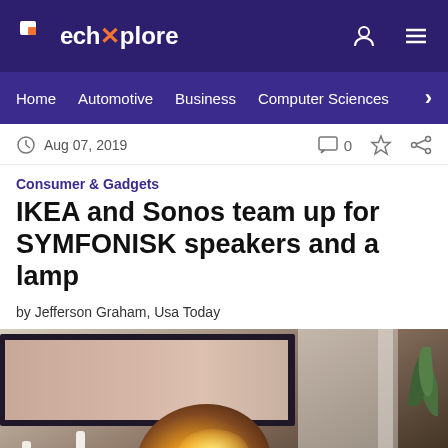TechXplore — Home | Automotive | Business | Computer Sciences
Aug 07, 2019  0
Consumer & Gadgets
IKEA and Sonos team up for SYMFONISK speakers and a lamp
by Jefferson Graham, Usa Today
[Figure (photo): Photo of a room with an IKEA SYMFONISK lamp speaker on a surface, with candles, a framed picture on the wall, and curtains in the background.]